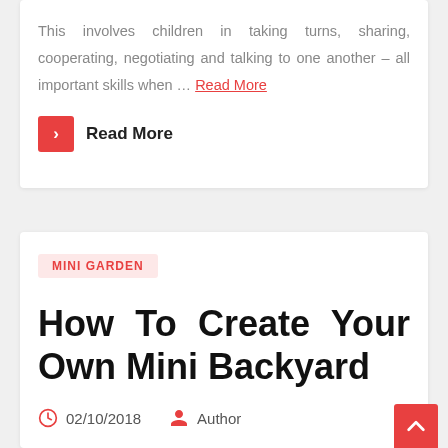This involves children in taking turns, sharing, cooperating, negotiating and talking to one another – all important skills when … Read More
Read More
MINI GARDEN
How To Create Your Own Mini Backyard
02/10/2018   Author